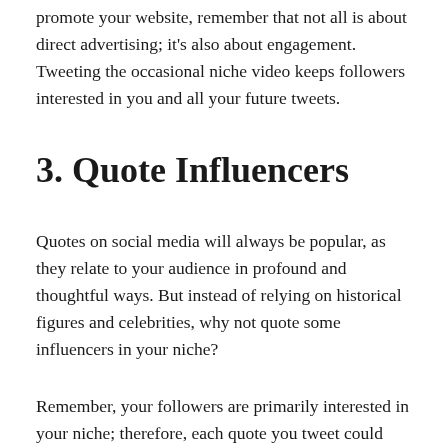promote your website, remember that not all is about direct advertising; it's also about engagement. Tweeting the occasional niche video keeps followers interested in you and all your future tweets.
3. Quote Influencers
Quotes on social media will always be popular, as they relate to your audience in profound and thoughtful ways. But instead of relying on historical figures and celebrities, why not quote some influencers in your niche?
Remember, your followers are primarily interested in your niche; therefore, each quote you tweet could have the same powerful impact. Additionally, this helps you connect with other influencers more closely and ultimately develop a healthy business relationship. Just make sure you include the person's